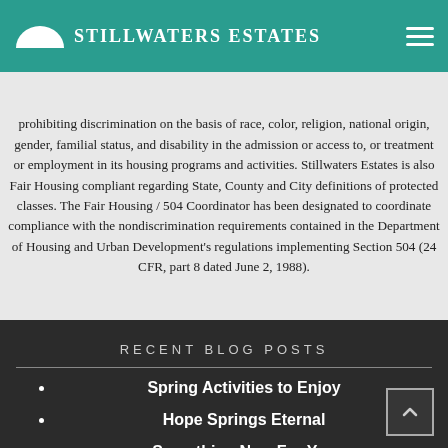Stillwaters Estates
prohibiting discrimination on the basis of race, color, religion, national origin, gender, familial status, and disability in the admission or access to, or treatment or employment in its housing programs and activities. Stillwaters Estates is also Fair Housing compliant regarding State, County and City definitions of protected classes. The Fair Housing / 504 Coordinator has been designated to coordinate compliance with the nondiscrimination requirements contained in the Department of Housing and Urban Development's regulations implementing Section 504 (24 CFR, part 8 dated June 2, 1988).
RECENT BLOG POSTS
Spring Activities to Enjoy
Hope Springs Eternal
Something New For You
Let's Get Prepared!